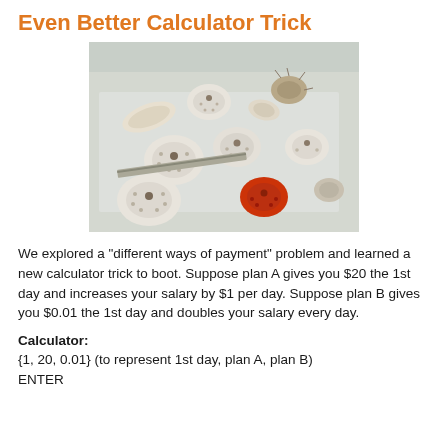Even Better Calculator Trick
[Figure (photo): Photo of multiple sea urchin shells and one red/orange sea urchin arranged on a light surface, some white and textured shells of various sizes]
We explored a "different ways of payment" problem and learned a new calculator trick to boot. Suppose plan A gives you $20 the 1st day and increases your salary by $1 per day. Suppose plan B gives you $0.01 the 1st day and doubles your salary every day.
Calculator:
{1, 20, 0.01} (to represent 1st day, plan A, plan B)
ENTER